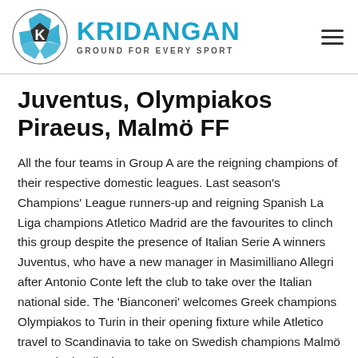[Figure (logo): Kridangan logo: soccer ball with K initial on left, 'KRIDANGAN' in blue bold uppercase, tagline 'GROUND FOR EVERY SPORT' in dark gray below]
Juventus, Olympiakos Piraeus, Malmö FF
All the four teams in Group A are the reigning champions of their respective domestic leagues. Last season's Champions' League runners-up and reigning Spanish La Liga champions Atletico Madrid are the favourites to clinch this group despite the presence of Italian Serie A winners Juventus, who have a new manager in Masimilliano Allegri after Antonio Conte left the club to take over the Italian national side. The 'Bianconeri' welcomes Greek champions Olympiakos to Turin in their opening fixture while Atletico travel to Scandinavia to take on Swedish champions Malmö FF, undoubtedly the